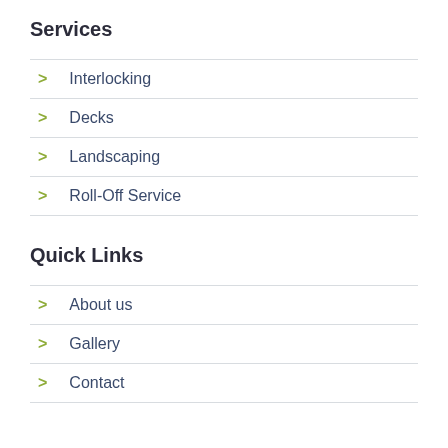Services
Interlocking
Decks
Landscaping
Roll-Off Service
Quick Links
About us
Gallery
Contact